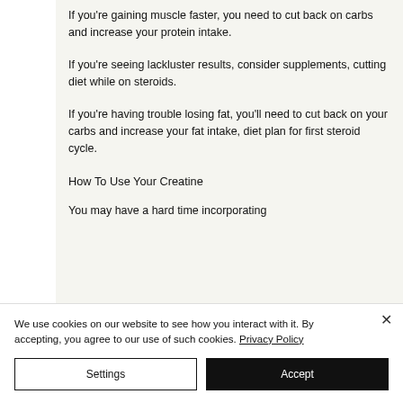If you're gaining muscle faster, you need to cut back on carbs and increase your protein intake.
If you're seeing lackluster results, consider supplements, cutting diet while on steroids.
If you're having trouble losing fat, you'll need to cut back on your carbs and increase your fat intake, diet plan for first steroid cycle.
How To Use Your Creatine
You may have a hard time incorporating
We use cookies on our website to see how you interact with it. By accepting, you agree to our use of such cookies. Privacy Policy